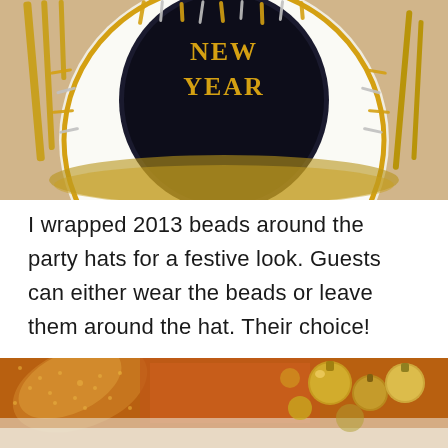[Figure (photo): New Year party hat on a white plate with gold and silver tinsel/fringe decoration, surrounded by gold cutlery on a table setting]
I wrapped 2013 beads around the party hats for a festive look. Guests can either wear the beads or leave them around the hat. Their choice!
[Figure (photo): Close-up of gold and orange New Year decorations including glittery ornaments and festive items on a table]